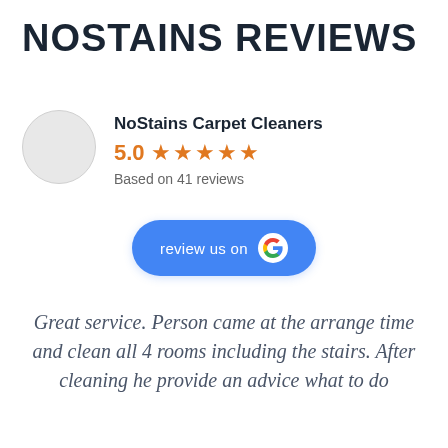NOSTAINS REVIEWS
NoStains Carpet Cleaners
5.0 ★★★★★
Based on 41 reviews
[Figure (infographic): Blue rounded button reading 'review us on G' with Google G logo icon in white circle]
Great service. Person came at the arrange time and clean all 4 rooms including the stairs. After cleaning he provide an advice what to do